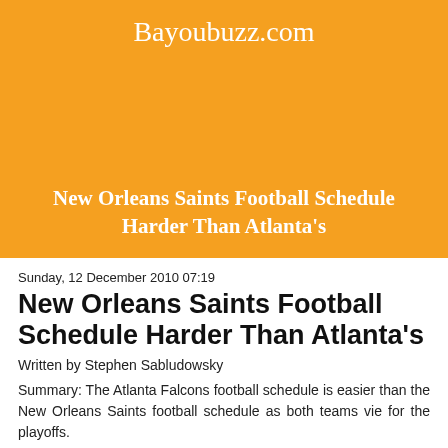Bayoubuzz.com
New Orleans Saints Football Schedule Harder Than Atlanta's
Sunday, 12 December 2010 07:19
New Orleans Saints Football Schedule Harder Than Atlanta's
Written by Stephen Sabludowsky
Summary: The Atlanta Falcons football schedule is easier than the New Orleans Saints football schedule as both teams vie for the playoffs.